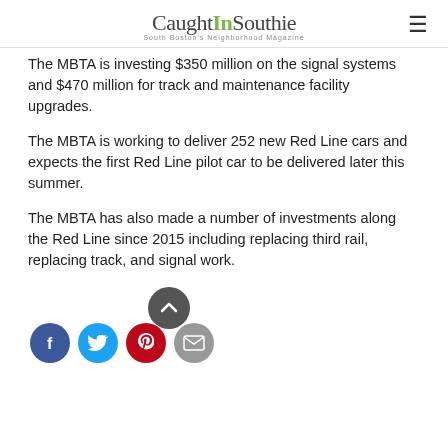CaughtInSouthie — South Boston's Neighborhood Magazine
The MBTA is investing $350 million on the signal systems and $470 million for track and maintenance facility upgrades.
The MBTA is working to deliver 252 new Red Line cars and expects the first Red Line pilot car to be delivered later this summer.
The MBTA has also made a number of investments along the Red Line since 2015 including replacing third rail, replacing track, and signal work.
[Figure (infographic): Social media sharing buttons (Facebook, Twitter, Pinterest, Email) with a scroll-to-top button above]